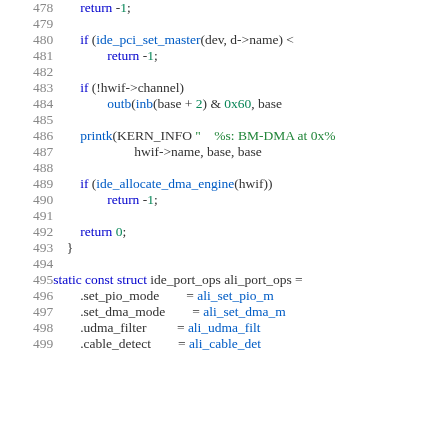[Figure (screenshot): Source code listing lines 478-499 showing C code for IDE DMA setup functions and a static const struct initialization for ali_port_ops]